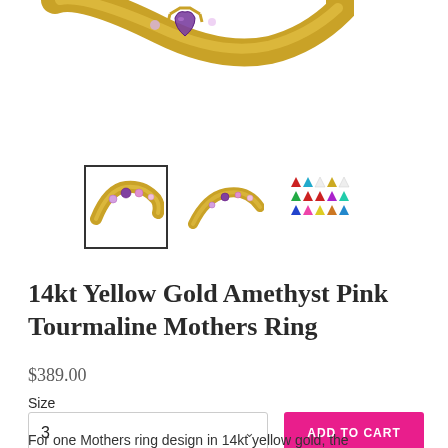[Figure (photo): Top portion of a 14kt yellow gold ring with amethyst and pink tourmaline stones, shown close-up, partially cropped at top of page.]
[Figure (photo): Thumbnail row: first thumbnail (selected, with border) shows the ring with amethyst and pink tourmaline on yellow gold band; second thumbnail shows ring from a different angle; third thumbnail shows a gemstone color chart grid.]
14kt Yellow Gold Amethyst Pink Tourmaline Mothers Ring
$389.00
Size
3
ADD TO CART
For one Mothers ring design in 14kt yellow gold, the